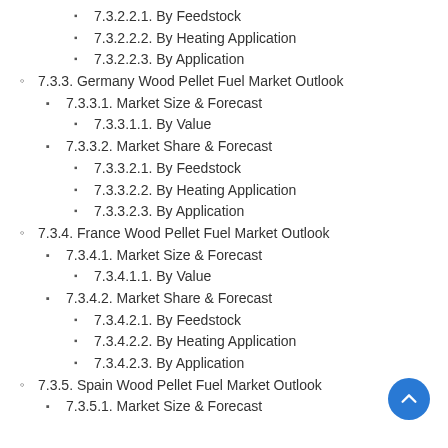7.3.2.2.1. By Feedstock
7.3.2.2.2. By Heating Application
7.3.2.2.3. By Application
7.3.3. Germany Wood Pellet Fuel Market Outlook
7.3.3.1. Market Size & Forecast
7.3.3.1.1. By Value
7.3.3.2. Market Share & Forecast
7.3.3.2.1. By Feedstock
7.3.3.2.2. By Heating Application
7.3.3.2.3. By Application
7.3.4. France Wood Pellet Fuel Market Outlook
7.3.4.1. Market Size & Forecast
7.3.4.1.1. By Value
7.3.4.2. Market Share & Forecast
7.3.4.2.1. By Feedstock
7.3.4.2.2. By Heating Application
7.3.4.2.3. By Application
7.3.5. Spain Wood Pellet Fuel Market Outlook
7.3.5.1. Market Size & Forecast